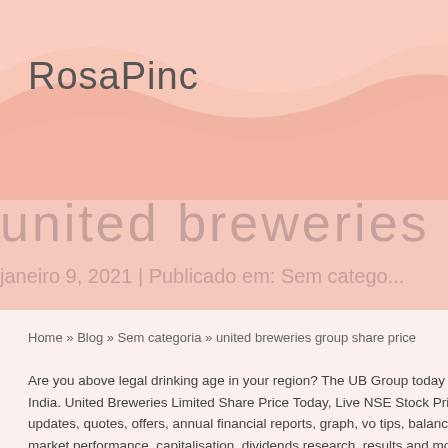RosaPinc
united breweries group
janeiro 9, 2021 | Publicado em: Sem catego...
Home » Blog » Sem categoria » united breweries group share price
Are you above legal drinking age in your region? The UB Group today controls 60% for beer in India. United Breweries Limited Share Price Today, Live NSE Stock Price Limited news, company updates, quotes, offers, annual financial reports, graph, vo tips, balance sheet, historical charts, market performance, capitalisation, dividends research, results and more details at NSE India. About us; ... Share Price and Fina hand came in at Rs 36 bn (up 7.7% YoY). "With most states reversing steep taxes, turning benign and further unlocking can drive a sharp recovery in industry volumes